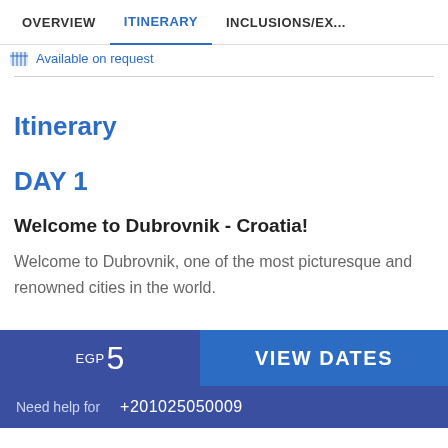OVERVIEW   ITINERARY   INCLUSIONS/EX...
Available on request
Itinerary
DAY 1
Welcome to Dubrovnik - Croatia!
Welcome to Dubrovnik, one of the most picturesque and renowned cities in the world.
EGP 5   VIEW DATES
Need help for   +201025050009